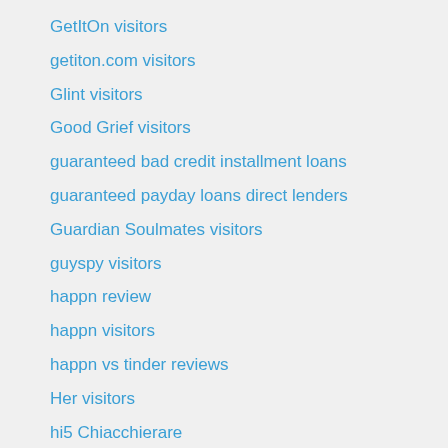GetItOn visitors
getiton.com visitors
Glint visitors
Good Grief visitors
guaranteed bad credit installment loans
guaranteed payday loans direct lenders
Guardian Soulmates visitors
guyspy visitors
happn review
happn visitors
happn vs tinder reviews
Her visitors
hi5 Chiacchierare
hi5 dating
hinge dating